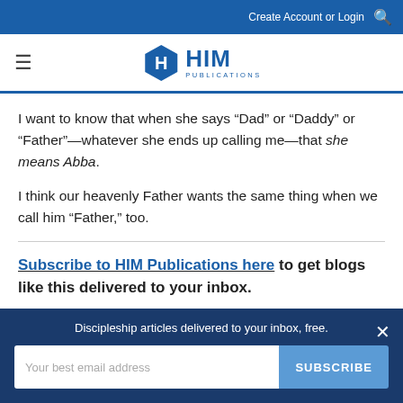Create Account or Login
[Figure (logo): HIM Publications logo with hexagon H icon]
I want to know that when she says “Dad” or “Daddy” or “Father”—whatever she ends up calling me—that she means Abba.
I think our heavenly Father wants the same thing when we call him “Father,” too.
Subscribe to HIM Publications here to get blogs like this delivered to your inbox.
Discipleship articles delivered to your inbox, free.